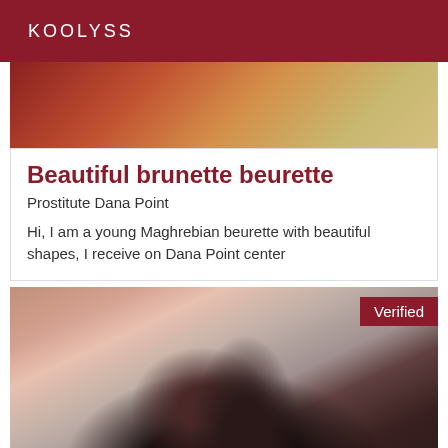KOOLYSS
[Figure (photo): Partial photo showing blonde/warm-toned hair, cropped at top]
Beautiful brunette beurette
Prostitute Dana Point
Hi, I am a young Maghrebian beurette with beautiful shapes, I receive on Dana Point center
[Figure (photo): Photo of a person with dark curly hair, seen from behind, with a 'Verified' badge in the top right corner]